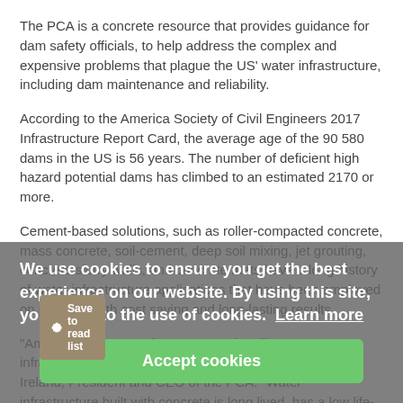The PCA is a concrete resource that provides guidance for dam safety officials, to help address the complex and expensive problems that plague the US' water infrastructure, including dam maintenance and reliability.
According to the America Society of Civil Engineers 2017 Infrastructure Report Card, the average age of the 90 580 dams in the US is 56 years. The number of deficient high hazard potential dams has climbed to an estimated 2170 or more.
Cement-based solutions, such as roller-compacted concrete, mass concrete, soil-cement, deep soil mixing, jet grouting, concrete slurry walls, and concrete mats have a long history of water infrastructure applications that have been employed on projects, with cost saving and long-lasting results.
"America deserves safe, strong, and resilient water infrastructure – our economy depends on it," said Micheal Ireland, President and CEO of the PCA. "Water infrastructure built with concrete is long lived, has a low life-cycle cost, and is resilient to man-made natural disasters."
We use cookies to ensure you get the best experience on our website. By using this site, you agree to the use of cookies. Learn more
Accept cookies
Save to read list